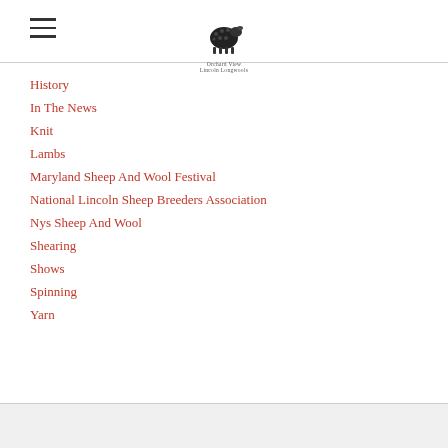Orchard View Lincoln Longwools logo and navigation header
History
In The News
Knit
Lambs
Maryland Sheep And Wool Festival
National Lincoln Sheep Breeders Association
Nys Sheep And Wool
Shearing
Shows
Spinning
Yarn